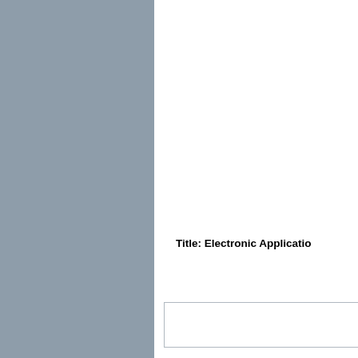[Figure (other): Gray decorative panel on the left side of the cover page]
Title: Electronic Applicatio
[Figure (other): Empty bordered box below the title, likely a content placeholder or table frame]